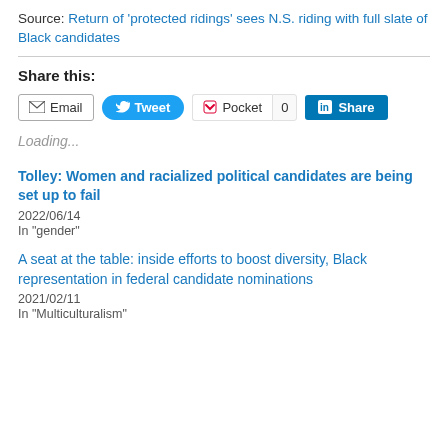Source: Return of 'protected ridings' sees N.S. riding with full slate of Black candidates
Share this:
[Figure (other): Social sharing buttons: Email, Tweet, Pocket (0), Share]
Loading...
Tolley: Women and racialized political candidates are being set up to fail
2022/06/14
In "gender"
A seat at the table: inside efforts to boost diversity, Black representation in federal candidate nominations
2021/02/11
In "Multiculturalism"